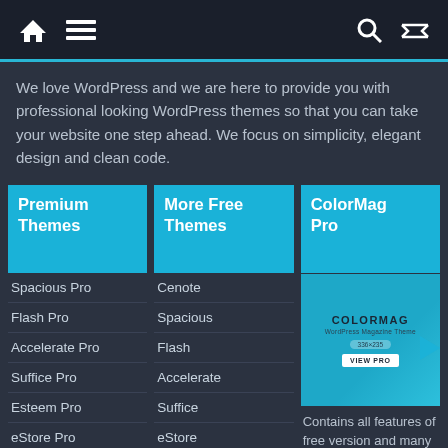Home | Menu | Search | Shuffle
We love WordPress and we are here to provide you with professional looking WordPress themes so that you can take your website one step ahead. We focus on simplicity, elegant design and clean code.
Premium Themes
More Free Themes
ColorMag Pro
Spacious Pro
Flash Pro
Accelerate Pro
Suffice Pro
Esteem Pro
eStore Pro
Cenote
Spacious
Flash
Accelerate
Suffice
eStore
[Figure (screenshot): ColorMag WordPress Magazine Theme promotional box with COLORMAG title, subtitle 'WordPress Magazine Theme', size indicator 336x235, and VIEW PRO button]
Contains all features of free version and many new additional